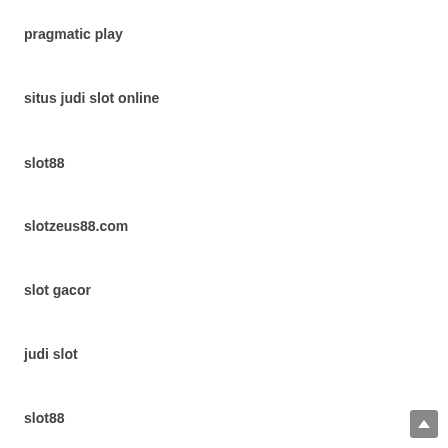pragmatic play
situs judi slot online
slot88
slotzeus88.com
slot gacor
judi slot
slot88